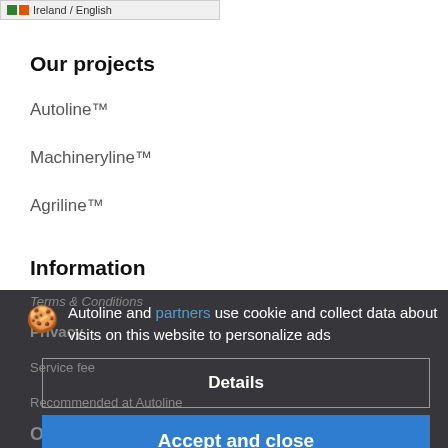[Figure (screenshot): Small flag icon bar showing Ireland / English with green and orange square color blocks]
Our projects
Autoline™
Machineryline™
Agriline™
Information
Terms & Conditions
Privacy
Service fee
Recommended at Autoline
Autoline and partners use cookie and collect data about visits on this website to personalize ads
Details
Accept and close
Our offers